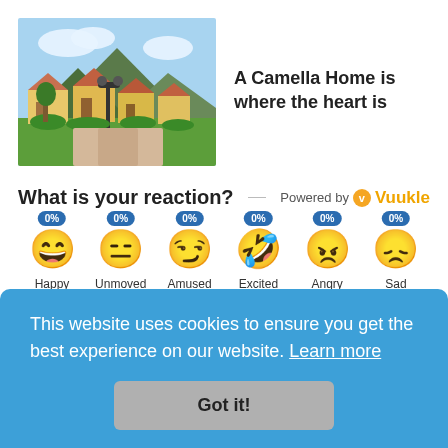[Figure (photo): Photograph of a Camella home community with houses, trees, lamp post, and mountain in background]
A Camella Home is where the heart is
What is your reaction?
[Figure (infographic): Reaction emojis row: Happy 0%, Unmoved 0%, Amused 0%, Excited 0%, Angry 0%, Sad 0% — Powered by Vuukle]
This website uses cookies to ensure you get the best experience on our website. Learn more
Got it!